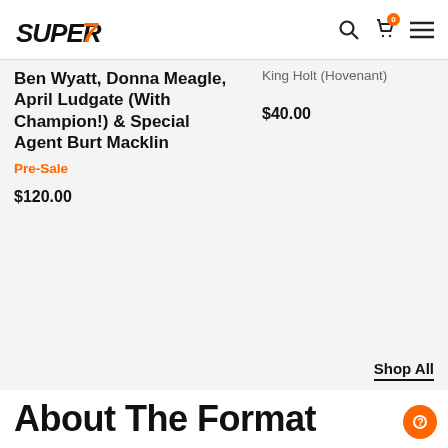Super7 — navigation header with logo, search, cart, and menu icons
Ben Wyatt, Donna Meagle, April Ludgate (With Champion!) & Special Agent Burt Macklin
Pre-Sale
$120.00
King Holt (Hovenant)
$40.00
Shop All
About The Format